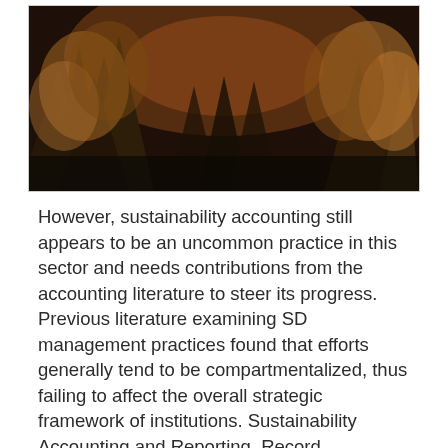[Figure (photo): A forest scene showing tall conifer trees with golden/amber foliage lit by warm light, dark moody sky in the background.]
However, sustainability accounting still appears to be an uncommon practice in this sector and needs contributions from the accounting literature to steer its progress. Previous literature examining SD management practices found that efforts generally tend to be compartmentalized, thus failing to affect the overall strategic framework of institutions. Sustainability Accounting and Reporting. Record sustainable thinking's impact on accounting and reporting practices. Compare traditional accounting methods and triple bottom line accounting. Balance sustainable development concerns against the core